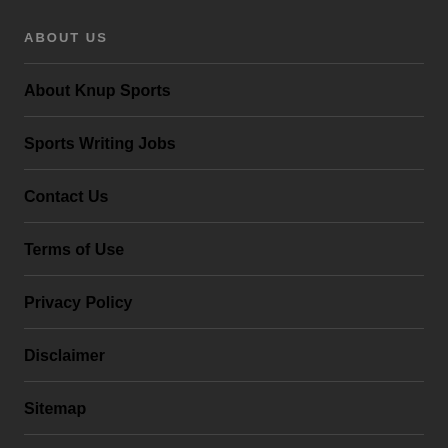ABOUT US
About Knup Sports
Sports Writing Jobs
Contact Us
Terms of Use
Privacy Policy
Disclaimer
Sitemap
Knup Sports Show